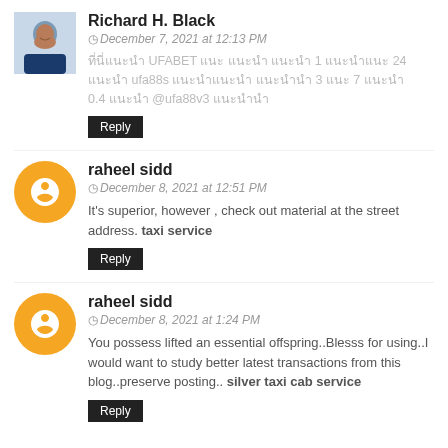[Figure (photo): Profile photo of Richard H. Black, a man in a suit]
Richard H. Black
December 7, 2021 at 12:13 PM
Thai/encoded text mentioning UFABET, 1, 24, ufa88s, 3, 7, 0.4, @ufa88v3
Reply
[Figure (logo): Orange circle with Blogger B logo icon for raheel sidd]
raheel sidd
December 8, 2021 at 12:51 PM
It's superior, however , check out material at the street address. taxi service
Reply
[Figure (logo): Orange circle with Blogger B logo icon for raheel sidd]
raheel sidd
December 8, 2021 at 1:24 PM
You possess lifted an essential offspring..Blesss for using..I would want to study better latest transactions from this blog..preserve posting.. silver taxi cab service
Reply